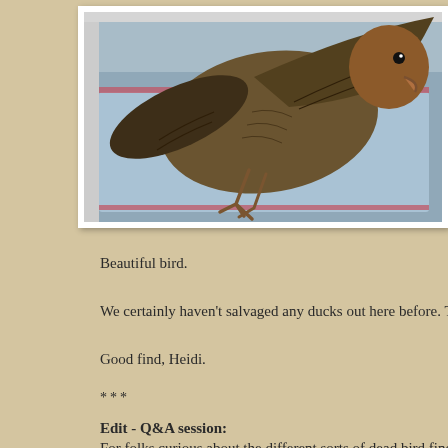[Figure (photo): A dead bird (duck) lying on its back on a plastic bag on a metal surface, viewed from above. The bird has brown plumage with its wings spread, legs visible, and a brown head.]
Beautiful bird.
We certainly haven't salvaged any ducks out here before. There's a
Good find, Heidi.
***
Edit - Q&A session:
For folks curious about the different sorts of dead bird findings, here